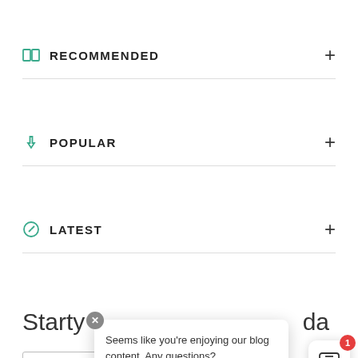RECOMMENDED
POPULAR
LATEST
Start your da
Enter your email address
[Figure (screenshot): Chat popup with message: Seems like you're enjoying our blog content. Any questions? With a close button and a chat widget with notification badge showing 1.]